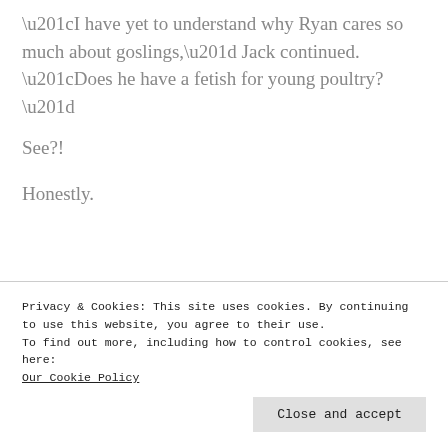“I have yet to understand why Ryan cares so much about goslings,” Jack continued. “Does he have a fetish for young poultry?”
See?!
Honestly.
Privacy & Cookies: This site uses cookies. By continuing to use this website, you agree to their use.
To find out more, including how to control cookies, see here:
Our Cookie Policy